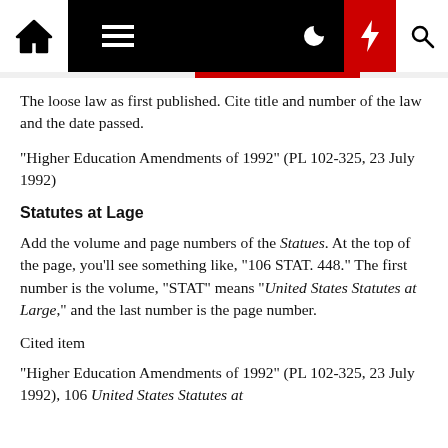Navigation bar with home, menu, moon, lightning, and search icons
The loose law as first published. Cite title and number of the law and the date passed.
"Higher Education Amendments of 1992" (PL 102-325, 23 July 1992)
Statutes at Lage
Add the volume and page numbers of the Statues. At the top of the page, you'll see something like, "106 STAT. 448." The first number is the volume, "STAT" means "United States Statutes at Large," and the last number is the page number.
Cited item
"Higher Education Amendments of 1992" (PL 102-325, 23 July 1992), 106 United States Statutes at